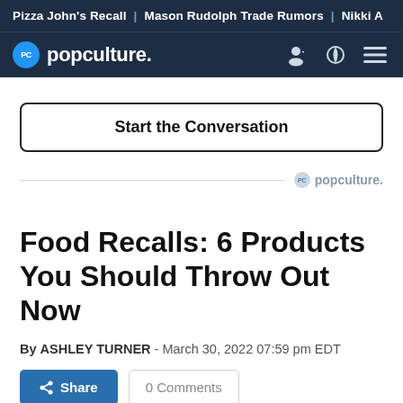Pizza John's Recall | Mason Rudolph Trade Rumors | Nikki A
popculture.
Start the Conversation
[Figure (logo): popculture. logo watermark with divider line]
Food Recalls: 6 Products You Should Throw Out Now
By ASHLEY TURNER - March 30, 2022 07:59 pm EDT
Share   0 Comments